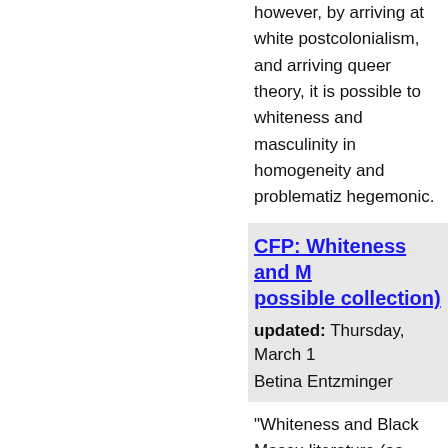however, by arriving at white postcolonialism, and arriving queer theory, it is possible to whiteness and masculinity in homogeneity and problematiz hegemonic.
CFP: Whiteness and M possible collection)
updated: Thursday, March 1
Betina Entzminger
"Whiteness and Black Mascu literature (as practiced in the however, by arriving at white postcolonialism, and arriving queer theory, it is possible to whiteness and masculinity in